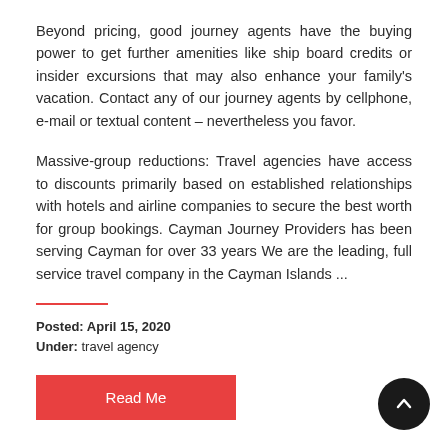Beyond pricing, good journey agents have the buying power to get further amenities like ship board credits or insider excursions that may also enhance your family's vacation. Contact any of our journey agents by cellphone, e-mail or textual content – nevertheless you favor.
Massive-group reductions: Travel agencies have access to discounts primarily based on established relationships with hotels and airline companies to secure the best worth for group bookings. Cayman Journey Providers has been serving Cayman for over 33 years We are the leading, full service travel company in the Cayman Islands ...
Posted: April 15, 2020
Under: travel agency
[Figure (other): Red button labeled 'Read Me']